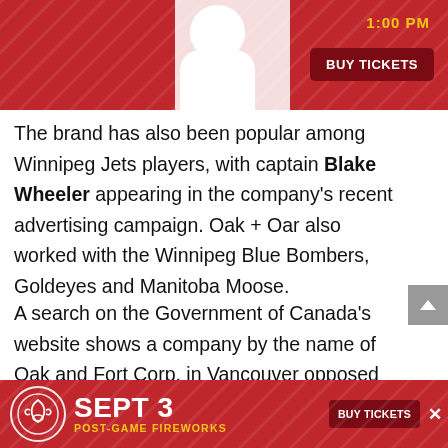[Figure (screenshot): Top portion of a sports event advertisement banner in red with a white-clothed figure and a yellow '1:00 PM' time text and a dark red 'BUY TICKETS' button.]
The brand has also been popular among Winnipeg Jets players, with captain Blake Wheeler appearing in the company’s recent advertising campaign. Oak + Oar also worked with the Winnipeg Blue Bombers, Goldeyes and Manitoba Moose.
A search on the Government of Canada’s website shows a company by the name of Oak and Fort Corp. in Vancouver opposed Oak + Oar’s trademark application. On its website, Oak and F… that f…
[Figure (screenshot): Bottom advertisement banner in red for a sports event: 'SEPT 3 POST-GAME FIREWORKS' with a logo and 'BUY TICKETS' button and a close (x) button.]